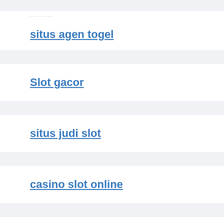situs agen togel
Slot gacor
situs judi slot
casino slot online